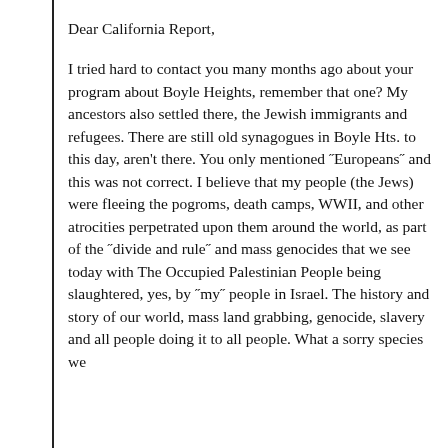Dear California Report,
I tried hard to contact you many months ago about your program about Boyle Heights, remember that one? My ancestors also settled there, the Jewish immigrants and refugees. There are still old synagogues in Boyle Hts. to this day, aren't there. You only mentioned ʿEuropeansʿ and this was not correct. I believe that my people (the Jews) were fleeing the pogroms, death camps, WWII, and other atrocities perpetrated upon them around the world, as part of the ʿdivide and ruleʿ and mass genocides that we see today with The Occupied Palestinian People being slaughtered, yes, by ʿmyʿ people in Israel. The history and story of our world, mass land grabbing, genocide, slavery and all people doing it to all people. What a sorry species we